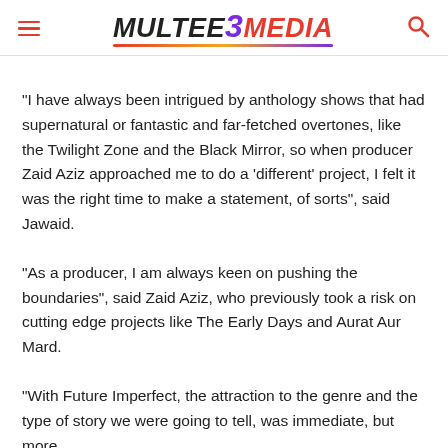MULTEE3MEDIA
“I have always been intrigued by anthology shows that had supernatural or fantastic and far-fetched overtones, like the Twilight Zone and the Black Mirror, so when producer Zaid Aziz approached me to do a ‘different’ project, I felt it was the right time to make a statement, of sorts”, said Jawaid.
“As a producer, I am always keen on pushing the boundaries”, said Zaid Aziz, who previously took a risk on cutting edge projects like The Early Days and Aurat Aur Mard.
“With Future Imperfect, the attraction to the genre and the type of story we were going to tell, was immediate, but more